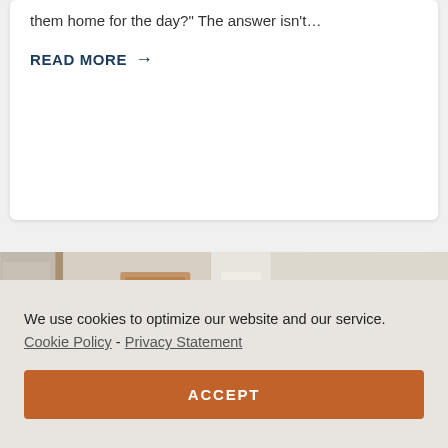them home for the day?" The answer isn't…
READ MORE →
[Figure (photo): Two interior home photos side by side: left shows an entryway/hallway with a round wall mirror and warm tones; right shows a staircase with wooden banister, blue patterned carpet runner, and a potted plant.]
We use cookies to optimize our website and our service.  Cookie Policy -  Privacy Statement
ACCEPT